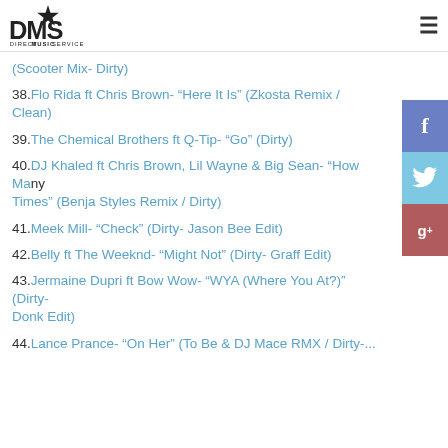DMS Direct Music Service
38. Flo Rida ft Chris Brown- "Here It Is" (Zkosta Remix / Clean)
39. The Chemical Brothers ft Q-Tip- "Go" (Dirty)
40. DJ Khaled ft Chris Brown, Lil Wayne & Big Sean- "How Many Times" (Benja Styles Remix / Dirty)
41. Meek Mill- "Check" (Dirty- Jason Bee Edit)
42. Belly ft The Weeknd- "Might Not" (Dirty- Graff Edit)
43. Jermaine Dupri ft Bow Wow- "WYA (Where You At?)" (Dirty- Donk Edit)
44. Lance Prance- "On Her" (To Be & DJ Mace RMX / Dirty-...